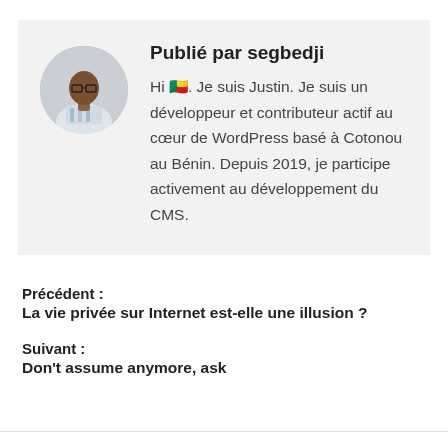[Figure (photo): Circular avatar photo of a young man wearing a white striped polo shirt, sitting cross-legged against a light background.]
Publié par segbedji
Hi 🇧🇯. Je suis Justin. Je suis un développeur et contributeur actif au cœur de WordPress basé à Cotonou au Bénin. Depuis 2019, je participe activement au développement du CMS.
Précédent :
La vie privée sur Internet est-elle une illusion ?
Suivant :
Don't assume anymore, ask